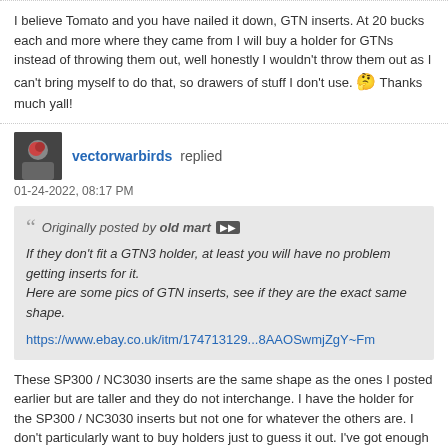I believe Tomato and you have nailed it down, GTN inserts. At 20 bucks each and more where they came from I will buy a holder for GTNs instead of throwing them out, well honestly I wouldn't throw them out as I can't bring myself to do that, so drawers of stuff I don't use. 🤔 Thanks much yall!
vectorwarbirds replied
01-24-2022, 08:17 PM
Originally posted by old mart ▶▶
If they don't fit a GTN3 holder, at least you will have no problem getting inserts for it.
Here are some pics of GTN inserts, see if they are the exact same shape.
https://www.ebay.co.uk/itm/174713129...8AAOSwmjZgY~Fm
These SP300 / NC3030 inserts are the same shape as the ones I posted earlier but are taller and they do not interchange. I have the holder for the SP300 / NC3030 inserts but not one for whatever the others are. I don't particularly want to buy holders just to guess it out. I've got enough stuff like that already! 🧐
[Figure (photo): Partial image thumbnail, dark/grey content, cut off at bottom of page]